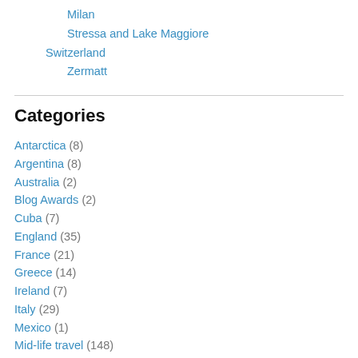Milan
Stressa and Lake Maggiore
Switzerland
Zermatt
Categories
Antarctica (8)
Argentina (8)
Australia (2)
Blog Awards (2)
Cuba (7)
England (35)
France (21)
Greece (14)
Ireland (7)
Italy (29)
Mexico (1)
Mid-life travel (148)